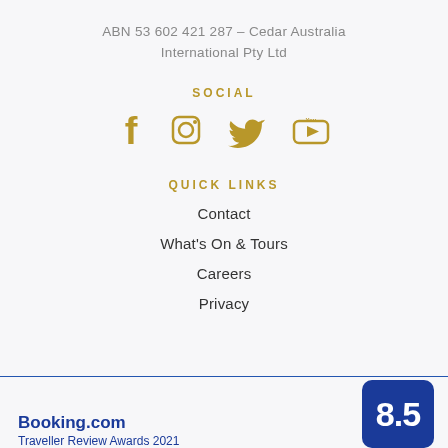ABN 53 602 421 287 – Cedar Australia International Pty Ltd
SOCIAL
[Figure (other): Social media icons: Facebook, Instagram, Twitter, YouTube in gold color]
QUICK LINKS
Contact
What's On & Tours
Careers
Privacy
[Figure (logo): Booking.com Traveller Review Awards 2021 logo with score badge showing 8.5]